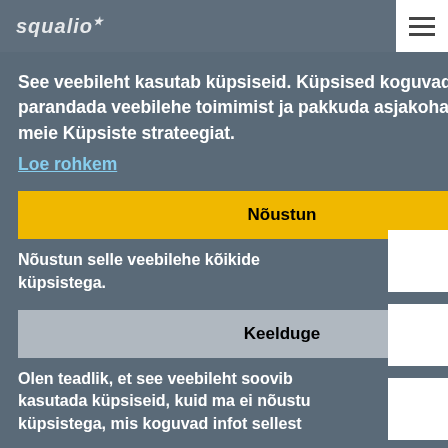squalio
See veebileht kasutab küpsiseid. Küpsised koguvad infot lehe külastatavuse kohta, aitavad parandada veebilehe toimimist ja pakkuda asjakohast sisu ning reklaame. Vaata põhjalikumalt meie Küpsiste strateegiat.
Loe rohkem
Nõustun
Nõustun selle veebilehe kõikide küpsistega.
Keelduge
Olen teadlik, et see veebileht soovib kasutada küpsiseid, kuid ma ei nõustu küpsistega, mis koguvad infot sellest